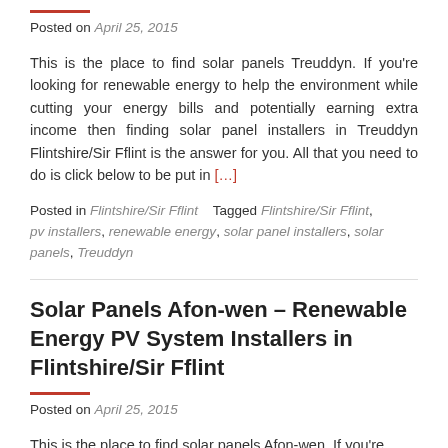Posted on April 25, 2015
This is the place to find solar panels Treuddyn. If you're looking for renewable energy to help the environment while cutting your energy bills and potentially earning extra income then finding solar panel installers in Treuddyn Flintshire/Sir Fflint is the answer for you. All that you need to do is click below to be put in [...]
Posted in Flintshire/Sir Fflint   Tagged Flintshire/Sir Fflint, pv installers, renewable energy, solar panel installers, solar panels, Treuddyn
Solar Panels Afon-wen – Renewable Energy PV System Installers in Flintshire/Sir Fflint
Posted on April 25, 2015
This is the place to find solar panels Afon-wen. If you're